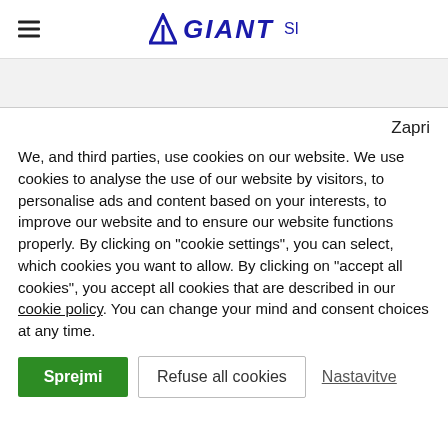GIANT SI
Zapri
We, and third parties, use cookies on our website. We use cookies to analyse the use of our website by visitors, to personalise ads and content based on your interests, to improve our website and to ensure our website functions properly. By clicking on “cookie settings”, you can select, which cookies you want to allow. By clicking on “accept all cookies”, you accept all cookies that are described in our cookie policy. You can change your mind and consent choices at any time.
Sprejmi | Refuse all cookies | Nastavitve